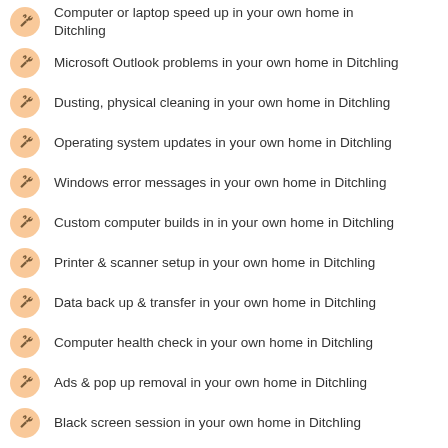Computer or laptop speed up in your own home in Ditchling
Microsoft Outlook problems in your own home in Ditchling
Dusting, physical cleaning in your own home in Ditchling
Operating system updates in your own home in Ditchling
Windows error messages in your own home in Ditchling
Custom computer builds in in your own home in Ditchling
Printer & scanner setup in your own home in Ditchling
Data back up & transfer in your own home in Ditchling
Computer health check in your own home in Ditchling
Ads & pop up removal in your own home in Ditchling
Black screen session in your own home in Ditchling
Blue screen crash in your own home in Ditchling